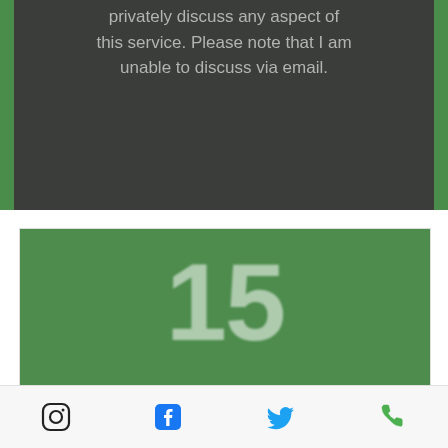privately discuss any aspect of this service. Please note that I am unable to discuss via email.
[Figure (photo): Green card image showing large blurred number '15' on a dark green background with blurred subtext below]
15 minute Phone Consultation
Booking option to secure a 15 minute
Instagram, Facebook, Twitter, Phone icons